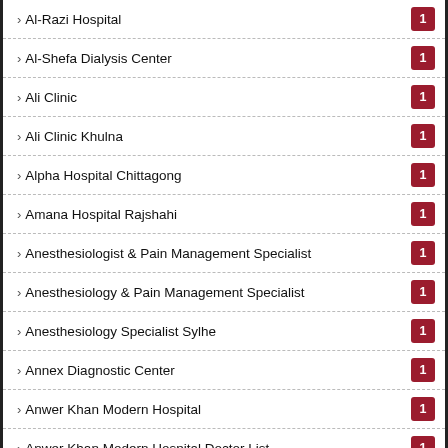Al-Razi Hospital
Al-Shefa Dialysis Center
Ali Clinic
Ali Clinic Khulna
Alpha Hospital Chittagong
Amana Hospital Rajshahi
Anesthesiologist & Pain Management Specialist
Anesthesiology & Pain Management Specialist
Anesthesiology Specialist Sylhe
Annex Diagnostic Center
Anwer Khan Modern Hospital
Anwer Khan Modern Hospital Doctor List
Anwer Khan Modern Hospital Limited
Apollo Diagnostic Center And Imaging Center